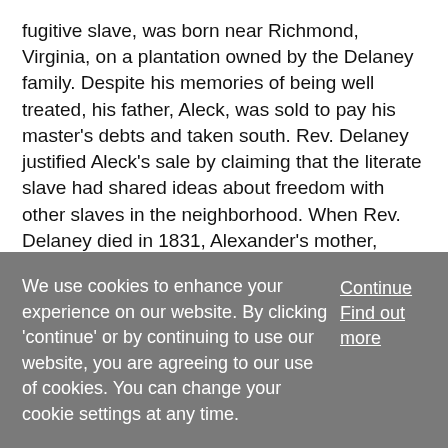fugitive slave, was born near Richmond, Virginia, on a plantation owned by the Delaney family. Despite his memories of being well treated, his father, Aleck, was sold to pay his master's debts and taken south. Rev. Delaney justified Aleck's sale by claiming that the literate slave had shared ideas about freedom with other slaves in the neighborhood. When Rev. Delaney died in 1831, Alexander's mother, Chloe, was left to Mrs. Delaney, and eighteen-year-old Alexander was left to the master's son, Thomas. Chloe Alexander died six months after Thomas Delaney took her son with him to Missouri. Delaney settled in western St Charles County Missouri where
We use cookies to enhance your experience on our website. By clicking 'continue' or by continuing to use our website, you are agreeing to our use of cookies. You can change your cookie settings at any time.
Continue
Find out more